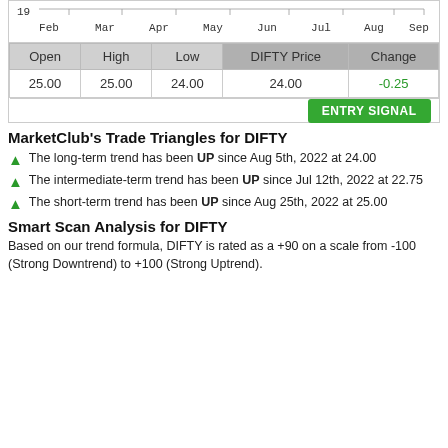[Figure (other): Partial price chart showing months Feb through Sep with value 19 on y-axis]
| Open | High | Low | DIFTY Price | Change |
| --- | --- | --- | --- | --- |
| 25.00 | 25.00 | 24.00 | 24.00 | -0.25 |
MarketClub's Trade Triangles for DIFTY
The long-term trend has been UP since Aug 5th, 2022 at 24.00
The intermediate-term trend has been UP since Jul 12th, 2022 at 22.75
The short-term trend has been UP since Aug 25th, 2022 at 25.00
Smart Scan Analysis for DIFTY
Based on our trend formula, DIFTY is rated as a +90 on a scale from -100 (Strong Downtrend) to +100 (Strong Uptrend).